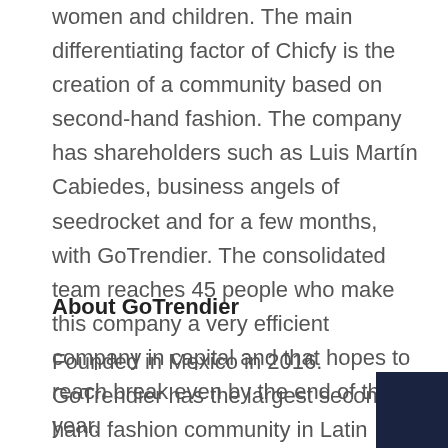women and children. The main differentiating factor of Chicfy is the creation of a community based on second-hand fashion. The company has shareholders such as Luis Martín Cabiedes, business angels of seedrocket and for a few months, with GoTrendier. The consolidated team reaches 45 people who make this company a very efficient company in capital and that hopes to reach break even by the end of the year.
About GoTrendier
Founded in Mexico in 2016. GoTrendier has the largest second-hand fashion community in Latin America. The startup has a team of 20 people operating in Mexico, Colombia and Spain. Partners like Bonsai, Antai, Pedralbes from the beginning,